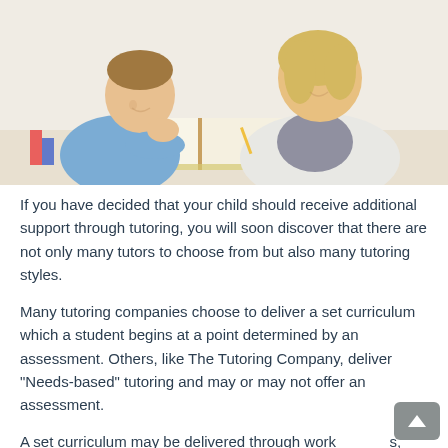[Figure (photo): A smiling young boy resting his chin on his hand sitting next to a smiling adult woman (tutor/teacher), both looking at an open book on a desk. The woman holds a pencil. Educational setting with books.]
If you have decided that your child should receive additional support through tutoring, you will soon discover that there are not only many tutors to choose from but also many tutoring styles.
Many tutoring companies choose to deliver a set curriculum which a student begins at a point determined by an assessment. Others, like The Tutoring Company, deliver "Needs-based" tutoring and may or may not offer an assessment.
A set curriculum may be delivered through works,